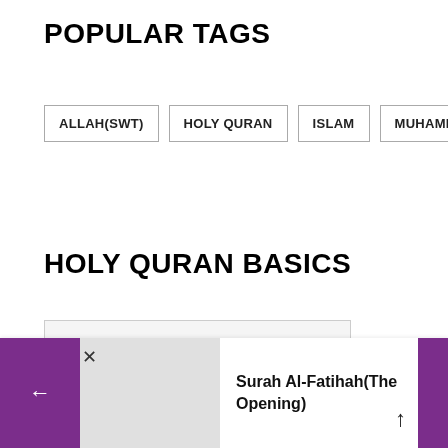POPULAR TAGS
ALLAH(SWT)
HOLY QURAN
ISLAM
MUHAMMAD(PBUH)
HOLY QURAN BASICS
[Figure (screenshot): Partial view of a Holy Quran Basics article image with red bold text partially visible at the bottom]
Surah Al-Fatihah(The Opening)